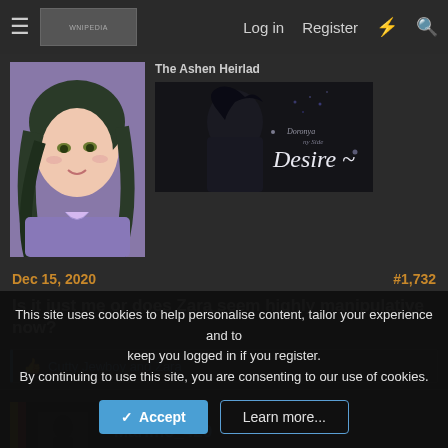Log in   Register
[Figure (illustration): Anime-style woman with dark wavy hair wearing purple outfit — forum user avatar]
[Figure (illustration): Dark banner image with anime character and cursive text reading 'Desire ~' with smaller script above it. Title above reads 'The Ashen Heirlad']
Dec 15, 2020
#1,732
Is it just me or does Zara seem highly manipulative now?
Cutty Jewboy and Zara
[Figure (illustration): Forum user avatar for Marimo_420 — dark image with colorful stripes]
Marimo_420
This site uses cookies to help personalise content, tailor your experience and to keep you logged in if you register.
By continuing to use this site, you are consenting to our use of cookies.